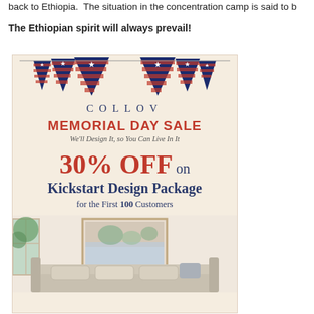back to Ethiopia. The situation in the concentration camp is said to b
The Ethiopian spirit will always prevail!
[Figure (infographic): COLLOV Memorial Day Sale advertisement. Shows decorative patriotic triangle flag banners at top. Text: COLLOV, MEMORIAL DAY SALE, We'll Design It, so You Can Live In It, 30% OFF on Kickstart Design Package for the First 100 Customers. Bottom shows a living room interior photo with sofa and artwork on wall.]